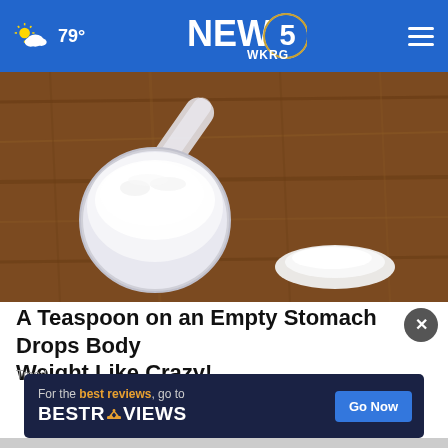☁ 79° | NEWS 5 WKRG
[Figure (photo): A plastic measuring scoop filled with white powder (protein powder or supplement) sitting on a rustic wooden surface, with a small pile of white powder next to it.]
A Teaspoon on an Empty Stomach Drops Body Weight Like Crazy!
Trend
[Figure (other): Advertisement banner: 'For the best reviews, go to BESTREVIEWS' with a 'Go Now' button.]